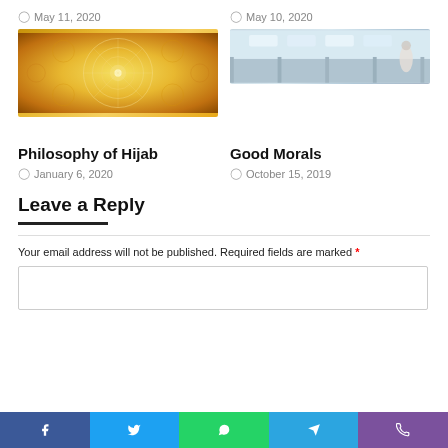May 11, 2020
[Figure (photo): Golden ornate mandala ceiling pattern]
May 10, 2020
[Figure (photo): Interior of a building with white pillars and shelves]
Philosophy of Hijab
January 6, 2020
Good Morals
October 15, 2019
Leave a Reply
Your email address will not be published. Required fields are marked *